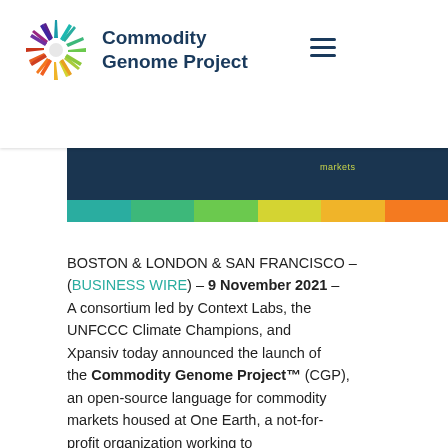Commodity Genome Project
[Figure (screenshot): Commodity Genome Project website header with sunburst logo, navigation hamburger menu, dark ocean background image, and a horizontal color bar with teal, green, yellow, and orange segments]
BOSTON & LONDON & SAN FRANCISCO – (BUSINESS WIRE) – 9 November 2021 – A consortium led by Context Labs, the UNFCCC Climate Champions, and Xpansiv today announced the launch of the Commodity Genome Project™ (CGP), an open-source language for commodity markets housed at One Earth, a not-for-profit organization working to accelerate climate action.
The CGP establishes a language for